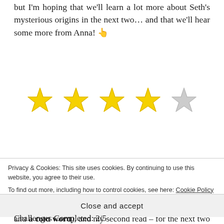but I'm hoping that we'll learn a lot more about Seth's mysterious origins in the next two… and that we'll hear some more from Anna! 👆
[Figure (illustration): Four yellow hand-drawn stars followed by one grey hand-drawn star, indicating a 4 out of 5 star rating]
CURRENT READATHON STATUS: Happy to have wrapped up my first book on day 1! 🎵 This was for the first two challenges on the Explorers' path (an adventure and a cold word), and my second read – for the next two challenges – will be Spinning
Privacy & Cookies: This site uses cookies. By continuing to use this website, you agree to their use.
To find out more, including how to control cookies, see here: Cookie Policy
Close and accept
Challenges Completed: 2/5